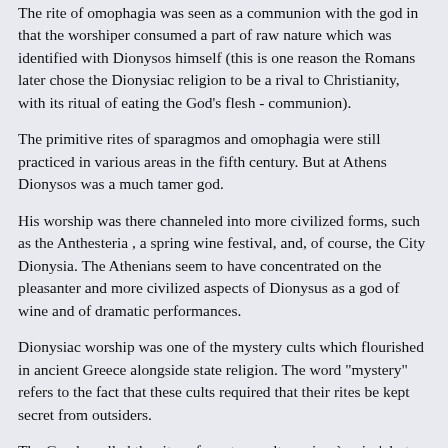The rite of omophagia was seen as a communion with the god in that the worshiper consumed a part of raw nature which was identified with Dionysos himself (this is one reason the Romans later chose the Dionysiac religion to be a rival to Christianity, with its ritual of eating the God's flesh - communion).
The primitive rites of sparagmos and omophagia were still practiced in various areas in the fifth century. But at Athens Dionysos was a much tamer god.
His worship was there channeled into more civilized forms, such as the Anthesteria , a spring wine festival, and, of course, the City Dionysia. The Athenians seem to have concentrated on the pleasanter and more civilized aspects of Dionysus as a god of wine and of dramatic performances.
Dionysiac worship was one of the mystery cults which flourished in ancient Greece alongside state religion. The word "mystery" refers to the fact that these cults required that their rites be kept secret from outsiders.
The Greeks called the rites of mystery cults orgia - `orgies', but this